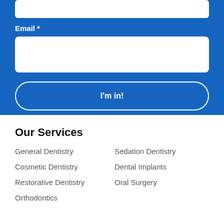Email *
Our Services
General Dentistry
Sedation Dentistry
Cosmetic Dentistry
Dental Implants
Restorative Dentistry
Oral Surgery
Orthodontics